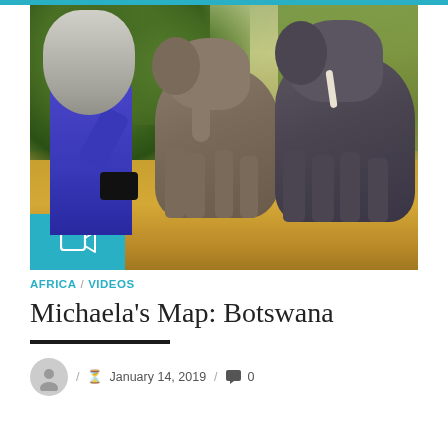[Figure (photo): A woman with long gray hair wearing a blue top, photographing two African elephants at close range in a dry savanna woodland setting. A teal video camera badge appears in the lower-left corner of the image.]
AFRICA / VIDEOS
Michaela's Map: Botswana
/ January 14, 2019 / 0